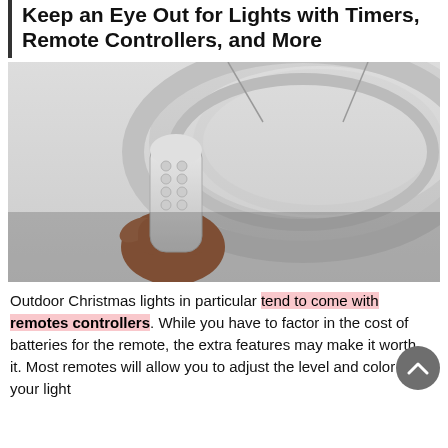Keep an Eye Out for Lights with Timers, Remote Controllers, and More
[Figure (photo): A hand holding a small white remote control pointed upward toward a large circular ring ceiling light fixture in a white room.]
Outdoor Christmas lights in particular tend to come with remotes controllers. While you have to factor in the cost of batteries for the remote, the extra features may make it worth it. Most remotes will allow you to adjust the level and color of your light…